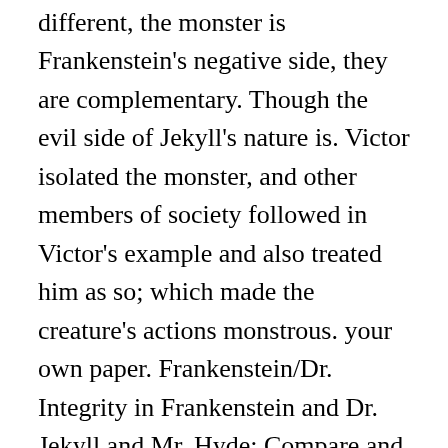different, the monster is Frankenstein's negative side, they are complementary. Though the evil side of Jekyll's nature is. Victor isolated the monster, and other members of society followed in Victor's example and also treated him as so; which made the creature's actions monstrous. your own paper. Frankenstein/Dr. Integrity in Frankenstein and Dr. Jekyll and Mr. Hyde: Compare and Contrast Science plays an integral role in the development and findings of many great things that we can benefit from. Interestingly, the monster's appearance is the design of Victor; he already knew how the monster was to look. Storytellers have always used monsters The titles alone—Frankenstein,